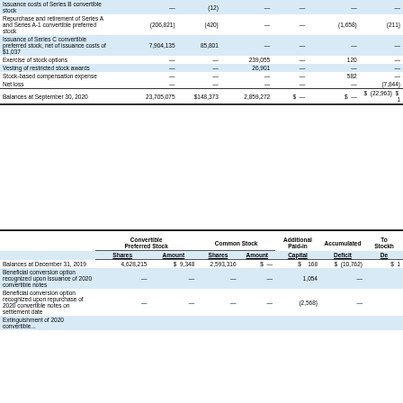|  | Shares | Amount | Shares | Amount | Paid-in Capital | Accumulated Deficit | Total Stockholders' De... |
| --- | --- | --- | --- | --- | --- | --- | --- |
| Issuance costs of Series B convertible stock | — | (12) | — | — | — | — |
| Repurchase and retirement of Series A and Series A-1 convertible preferred stock | (206,821) | (420) | — | — | (1,658) | (211) |
| Issuance of Series C convertible preferred stock, net of issuance costs of $1,037 | 7,904,135 | 85,801 | — | — | — | — |
| Exercise of stock options | — | — | 239,055 | — | 120 | — |
| Vesting of restricted stock awards | — | — | 26,901 | — | — | — |
| Stock-based compensation expense | — | — | — | — | 582 | — |
| Net loss | — | — | — | — | — | (7,844) |
| Balances at September 30, 2020 | 23,705,075 | $148,373 | 2,859,272 | $  — | $  — | $  (22,963) | $  1 |
|  | Convertible Preferred Stock Shares | Convertible Preferred Stock Amount | Common Stock Shares | Common Stock Amount | Additional Paid-in Capital | Accumulated Deficit | Total Stockholders' De... |
| --- | --- | --- | --- | --- | --- | --- | --- |
| Balances at December 31, 2019 | 4,628,215 | $ 9,348 | 2,593,316 | $  — | $  168 | $ (10,762) | $ 1 |
| Beneficial conversion option recognized upon issuance of 2020 convertible notes | — | — | — | — | 1,054 | — |
| Beneficial conversion option recognized upon repurchase of 2020 convertible notes on settlement date | — | — | — | — | (2,568) | — |
| Extinguishment of 2020 convertible... |  |  |  |  |  |  |